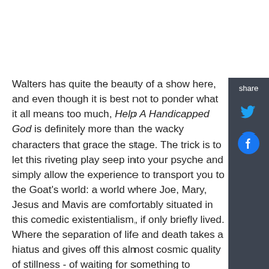Walters has quite the beauty of a show here, and even though it is best not to ponder what it all means too much, Help A Handicapped God is definitely more than the wacky characters that grace the stage. The trick is to let this riveting play seep into your psyche and simply allow the experience to transport you to the Goat's world: a world where Joe, Mary, Jesus and Mavis are comfortably situated in this comedic existentialism, if only briefly lived. Where the separation of life and death takes a hiatus and gives off this almost cosmic quality of stillness - of waiting for something to happen with little anticipation, but enough to keep the fire building. In some odd way, Walters has captured this idea of the "handicapped